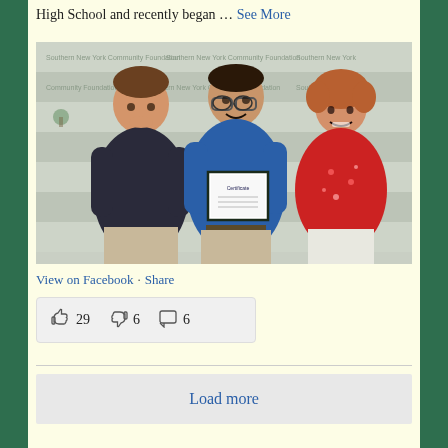High School and recently began … See More
[Figure (photo): Three people standing together in front of a community foundation step-and-repeat banner. A young man on the left wearing a dark shirt, a man in the middle in a blue polo holding a framed certificate, and a woman on the right in a red floral blouse and white pants.]
View on Facebook · Share
👍 29   🔁 6   💬 6
Load more